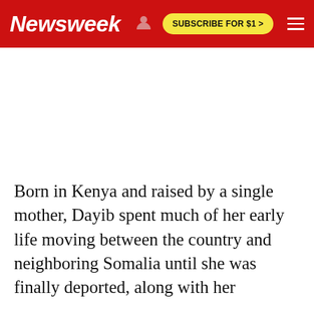Newsweek — SUBSCRIBE FOR $1 >
[Figure (other): White blank image placeholder area below header]
Born in Kenya and raised by a single mother, Dayib spent much of her early life moving between the country and neighboring Somalia until she was finally deported, along with her